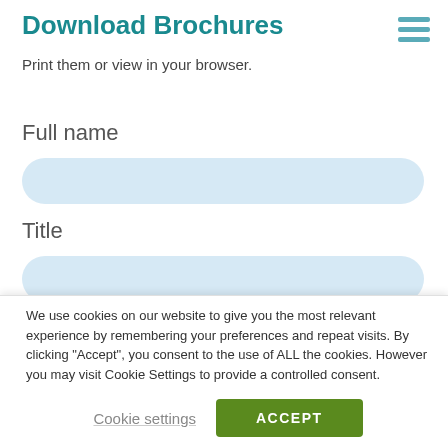Download Brochures
Print them or view in your browser.
[Figure (infographic): Hamburger menu icon with three horizontal teal lines]
Full name
[Figure (other): Light blue rounded input field for full name]
Title
[Figure (other): Light blue rounded input field for title]
We use cookies on our website to give you the most relevant experience by remembering your preferences and repeat visits. By clicking “Accept”, you consent to the use of ALL the cookies. However you may visit Cookie Settings to provide a controlled consent.
Cookie settings
ACCEPT